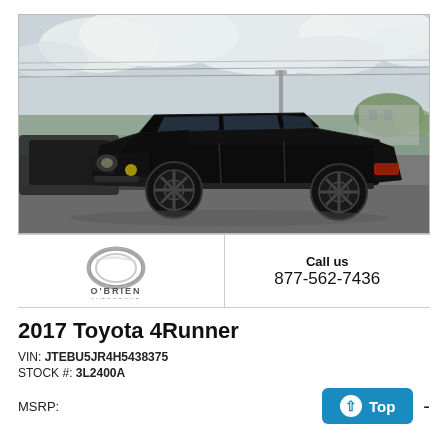[Figure (photo): Black 2017 Toyota 4Runner SUV parked in a dealership lot, photographed from a front 3/4 angle. Cloudy sky background with green trees. The vehicle is all black with black wheels.]
[Figure (logo): O'Brien Auto Group logo — circular chrome ring with O'BRIEN AUTOGROUP text below]
Call us
877-562-7436
2017 Toyota 4Runner
VIN: JTEBU5JR4H5438375
STOCK #: 3L2400A
MSRP: